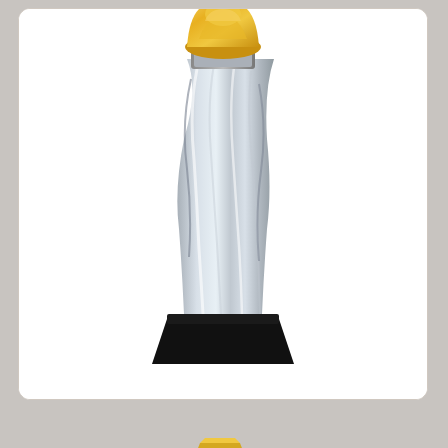[Figure (photo): A silver and gold decorative trophy/award statuette with a black square base, silver twisting column body, and gold ornamental top, displayed on white background inside a rounded card]
[Figure (photo): A chat interface screenshot showing: a circular avatar of a woman with dark hair wearing a hat and pink outfit with green earrings, a chat bubble saying 'Would you like me to suggest best awards / trophy for your event...', a close (x) button, and a WhatsApp button with 'AN' text on the right]